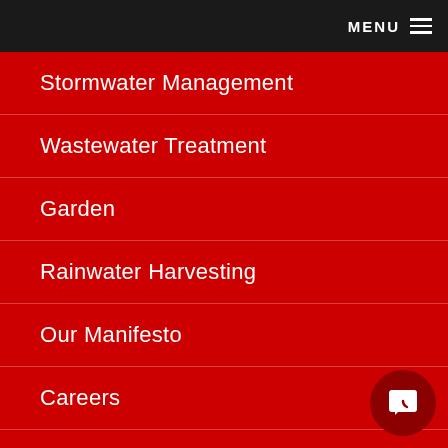MENU
Stormwater Management
Wastewater Treatment
Garden
Rainwater Harvesting
Our Manifesto
Careers
Contact Us
Contact Us
GRAF UK,
Regen House,